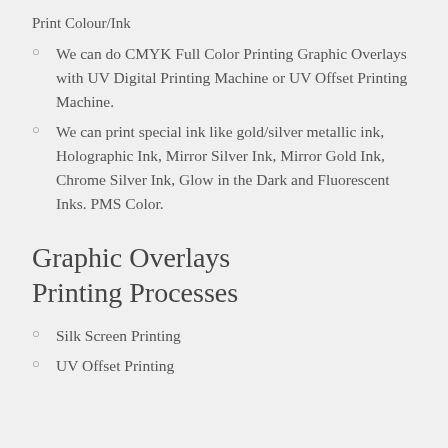Print Colour/Ink
We can do CMYK Full Color Printing Graphic Overlays with UV Digital Printing Machine or UV Offset Printing Machine.
We can print special ink like gold/silver metallic ink, Holographic Ink, Mirror Silver Ink, Mirror Gold Ink, Chrome Silver Ink, Glow in the Dark and Fluorescent Inks. PMS Color.
Graphic Overlays Printing Processes
Silk Screen Printing
UV Offset Printing